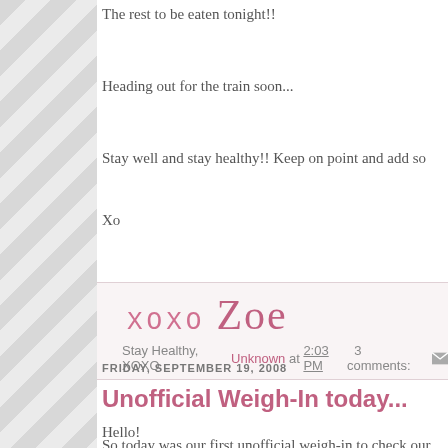The rest to be eaten tonight!!
Heading out for the train soon...
Stay well and stay healthy!! Keep on point and add so
Xo
[Figure (illustration): XOXO Zoe signature in cursive pink text on light pink background, with post metadata: Stay Healthy, XOXO Unknown at 2:03 PM 3 comments:]
FRIDAY, SEPTEMBER 19, 2008
Unofficial Weigh-In today...
Hello!
So today was our first unofficial weigh-in to check our